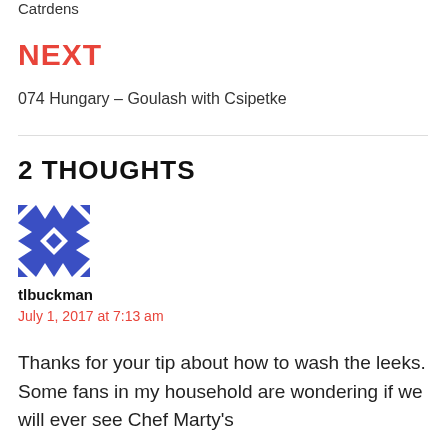Catrdens
NEXT
074 Hungary – Goulash with Csipetke
2 THOUGHTS
[Figure (illustration): Blue and white geometric/quilt pattern avatar icon]
tlbuckman
July 1, 2017 at 7:13 am
Thanks for your tip about how to wash the leeks. Some fans in my household are wondering if we will ever see Chef Marty's